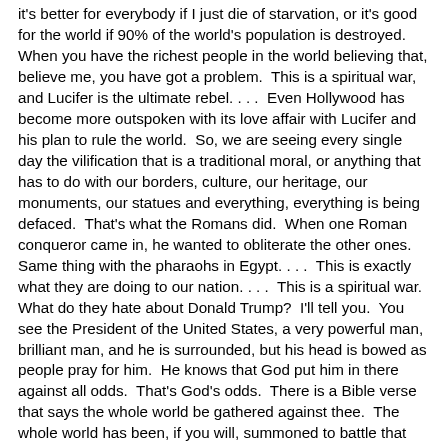it's better for everybody if I just die of starvation, or it's good for the world if 90% of the world's population is destroyed.  When you have the richest people in the world believing that, believe me, you have got a problem.  This is a spiritual war, and Lucifer is the ultimate rebel. . . .  Even Hollywood has become more outspoken with its love affair with Lucifer and his plan to rule the world.  So, we are seeing every single day the vilification that is a traditional moral, or anything that has to do with our borders, culture, our heritage, our monuments, our statues and everything, everything is being defaced.  That's what the Romans did.  When one Roman conqueror came in, he wanted to obliterate the other ones.  Same thing with the pharaohs in Egypt. . . .  This is exactly what they are doing to our nation. . . .  This is a spiritual war.  What do they hate about Donald Trump?  I'll tell you.  You see the President of the United States, a very powerful man, brilliant man, and he is surrounded, but his head is bowed as people pray for him.  He knows that God put him in there against all odds.  That's God's odds.  There is a Bible verse that says the whole world be gathered against thee.  The whole world has been, if you will, summoned to battle that man.  Is he a King Cyrus or a Nebuchadnezzar?  One destroyed the Jews, and one released the Jews.  Cyrus was given a command by the living God to free the